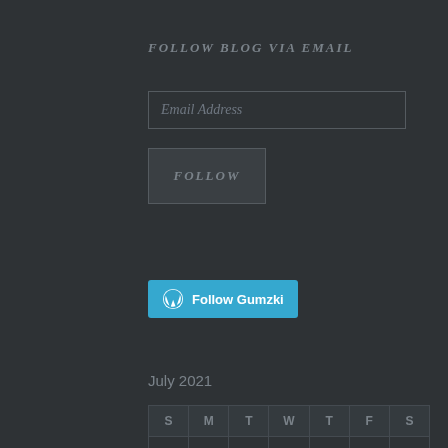FOLLOW BLOG VIA EMAIL
Email Address
FOLLOW
[Figure (other): WordPress Follow button with logo reading 'Follow Gumzki' in cyan/blue background]
July 2021
| S | M | T | W | T | F | S |
| --- | --- | --- | --- | --- | --- | --- |